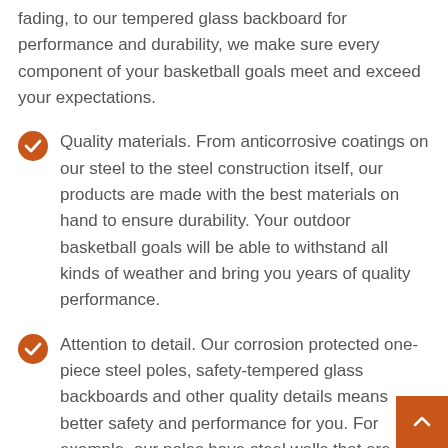fading, to our tempered glass backboard for performance and durability, we make sure every component of your basketball goals meet and exceed your expectations.
Quality materials. From anticorrosive coatings on our steel to the steel construction itself, our products are made with the best materials on hand to ensure durability. Your outdoor basketball goals will be able to withstand all kinds of weather and bring you years of quality performance.
Attention to detail. Our corrosion protected one-piece steel poles, safety-tempered glass backboards and other quality details means better safety and performance for you. For example, our poles have steel walls that are up to 200% thicker than the industry standard, and